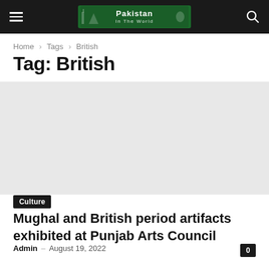Pakistan In The World
Home › Tags › British
Tag: British
[Figure (photo): Gray image placeholder area]
Culture
Mughal and British period artifacts exhibited at Punjab Arts Council
Admin – August 19, 2022
Rawalpindi: 19 Aug 2022 - An exhibition of Farooq Riaz's ancient